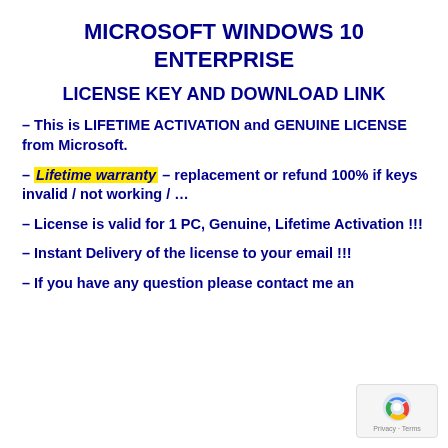MICROSOFT WINDOWS 10 ENTERPRISE
LICENSE KEY AND DOWNLOAD LINK
– This is LIFETIME ACTIVATION and GENUINE LICENSE from Microsoft.
– Lifetime warranty – replacement or refund 100% if keys invalid / not working / …
– License is valid for 1 PC, Genuine, Lifetime Activation !!!
– Instant Delivery of the license to your email !!!
– If you have any question please contact me an